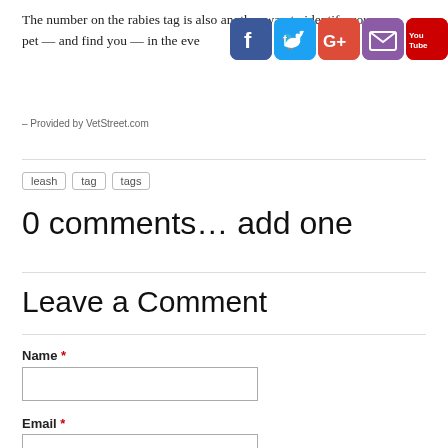The number on the rabies tag is also another way to identify your pet — and find you — in the event your pet becomes lost.
[Figure (illustration): Social media sharing icons for Facebook, Twitter, Google+, Email, and YouTube overlapping the text]
– Provided by VetStreet.com
leash
tag
tags
0 comments… add one
Leave a Comment
Name *
Email *